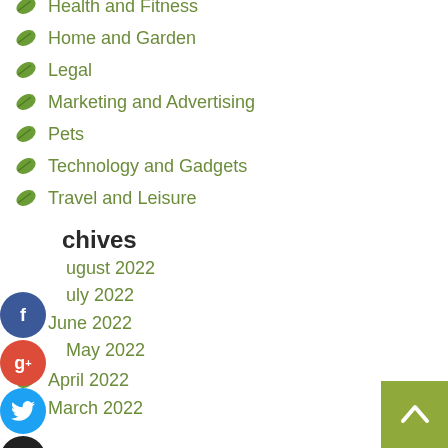Health and Fitness
Home and Garden
Legal
Marketing and Advertising
Pets
Technology and Gadgets
Travel and Leisure
Archives
August 2022
July 2022
June 2022
May 2022
April 2022
March 2022